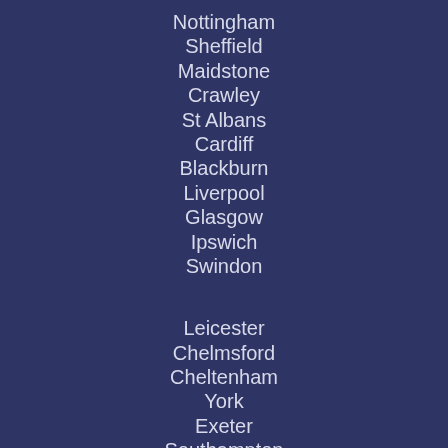Nottingham
Sheffield
Maidstone
Crawley
St Albans
Cardiff
Blackburn
Liverpool
Glasgow
Ipswich
Swindon
Leicester
Chelmsford
Cheltenham
York
Exeter
Southampton
Bournemouth
Oxford
Derby